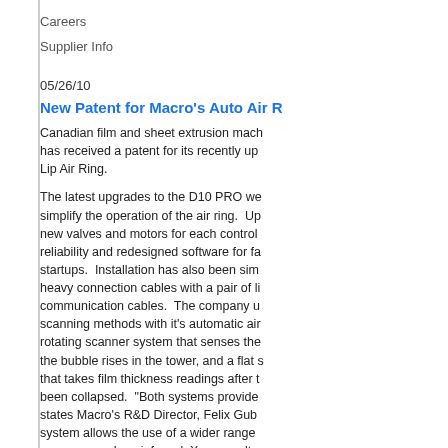Careers
Supplier Info
05/26/10
New Patent for Macro's Auto Air R…
Canadian film and sheet extrusion mach… has received a patent for its recently up… Lip Air Ring.
The latest upgrades to the D10 PRO we… simplify the operation of the air ring. Up… new valves and motors for each control… reliability and redesigned software for fa… startups. Installation has also been sim… heavy connection cables with a pair of li… communication cables. The company u… scanning methods with it's automatic air… rotating scanner system that senses the… the bubble rises in the tower, and a flat s… that takes film thickness readings after t… been collapsed. "Both systems provide… states Macro's R&D Director, Felix Gub… system allows the use of a wider range … scanners such as infrared, X-ray or ultr… complete scans quicker. The rotating sc… requires less complicated setup and sof…
More information about Macro's Auto…